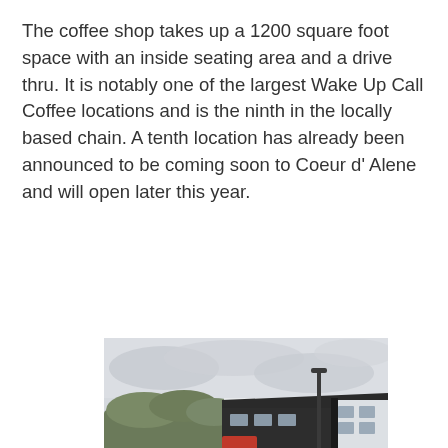The coffee shop takes up a 1200 square foot space with an inside seating area and a drive thru. It is notably one of the largest Wake Up Call Coffee locations and is the ninth in the locally based chain. A tenth location has already been announced to be coming soon to Coeur d' Alene and will open later this year.
[Figure (photo): Exterior photo of a modern black-and-white commercial building (coffee shop) with a flat roof, large windows, a parking lot in the foreground, and a tall street light pole. Overcast sky in background with forested hills.]
[Figure (photo): Partial exterior photo of the same modern black-roofed building, showing the roofline and cloudy sky above.]